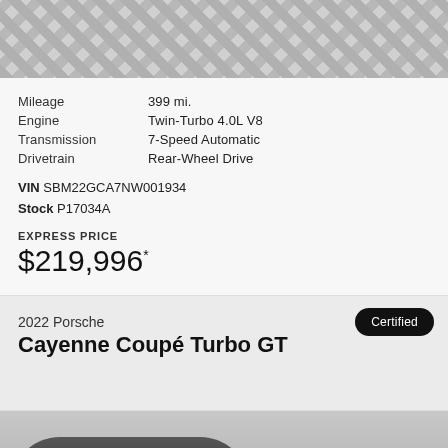[Figure (photo): Top portion of a car listing page showing a checkered tile floor background, partial car image from above]
| Mileage | 399 mi. |
| Engine | Twin-Turbo 4.0L V8 |
| Transmission | 7-Speed Automatic |
| Drivetrain | Rear-Wheel Drive |
VIN SBM22GCA7NW001934
Stock P17034A
EXPRESS PRICE
$219,996*
Certified
2022 Porsche
Cayenne Coupé Turbo GT
[Figure (photo): Bottom portion showing partial view of a dark-colored Porsche Cayenne Coupé Turbo GT with a Need Help button overlay]
NEED HELP?